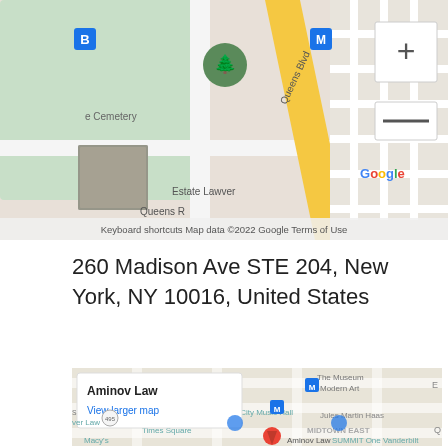[Figure (map): Google Maps screenshot showing a Queens, NY neighborhood with Hillcrest High School, Queens Cemetery, Metro (M) stops, Queens Boulevard, zoom in/out buttons, and footer reading 'Keyboard shortcuts | Map data ©2022 Google | Terms of Use']
260 Madison Ave STE 204, New York, NY 10016, United States
[Figure (map): Google Maps screenshot showing Midtown Manhattan with a popup box for 'Aminov Law' and 'View larger map' link. Shows The Museum of Modern Art, Radio City Music Hall, Times Square, MIDTOWN EAST, SUMMIT One Vanderbilt, Jules Martin Haas, Macy's, and a red location pin labeled 'Aminov Law'.]